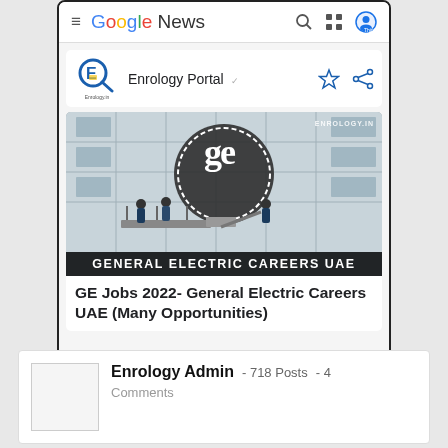Google News
Enrology Portal
[Figure (photo): GE (General Electric) building with workers on a lift platform, GE logo prominently displayed, watermark ENROLOGY.IN in top right, banner text GENERAL ELECTRIC CAREERS UAE at bottom]
GE Jobs 2022- General Electric Careers UAE (Many Opportunities)
Enrology Admin  -  718 Posts  -  4 Comments